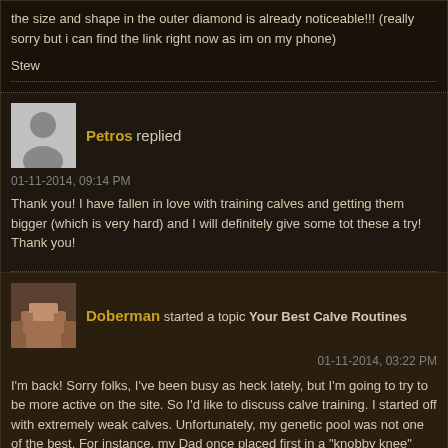the size and shape in the outer diamond is already noticeable!!! (really sorry but i can find the link right now as im on my phone)
Stew
Petros replied
01-11-2014, 09:14 PM
Thank you! I have fallen in love with training calves and getting them bigger (which is very hard) and I will definitely give some tot these a try! Thank you!
Doberman started a topic Your Best Calve Routines
01-11-2014, 03:22 PM
I'm back! Sorry folks, I've been busy as heck lately, but I'm going to try to be more active on the site. So I'd like to discuss calve training. I started off with extremely weak calves. Unfortunately, my genetic pool was not one of the best. For instance, my Dad once placed first in a "knobby knee" contest. Not a good win if your talking about leg development. With that in mind I always attacked my legs at the beginning of the week. My upper legs grew and eventually became a strong body part, but my calves still lagged behind. Although my calves may never be considered huge I eventually found a few